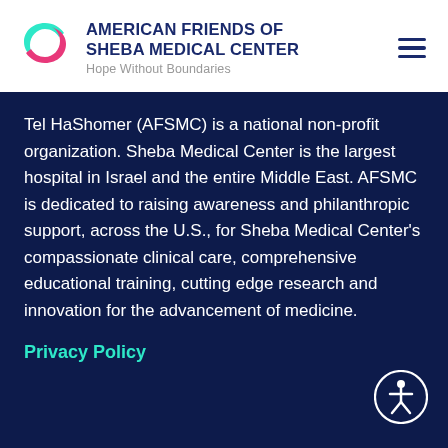[Figure (logo): American Friends of Sheba Medical Center logo with teal and pink S-shaped icon]
AMERICAN FRIENDS OF SHEBA MEDICAL CENTER
Hope Without Boundaries
Tel HaShomer (AFSMC) is a national non-profit organization. Sheba Medical Center is the largest hospital in Israel and the entire Middle East. AFSMC is dedicated to raising awareness and philanthropic support, across the U.S., for Sheba Medical Center's compassionate clinical care, comprehensive educational training, cutting edge research and innovation for the advancement of medicine.
Privacy Policy